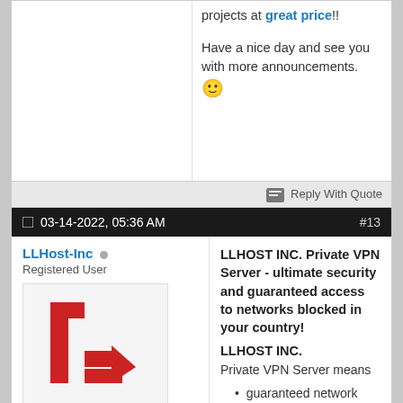projects at great price!!
Have a nice day and see you with more announcements. 🙂
Reply With Quote
03-14-2022, 05:36 AM  #13
LLHost-Inc  Registered User
[Figure (logo): LLHost-Inc logo: red stylized letter L with arrow]
Join Date: Jan 2017
Location: Romania
Posts: 41
LLHOST INC. Private VPN Server - ultimate security and guaranteed access to networks blocked in your country!
LLHOST INC. Private VPN Server means
guaranteed network